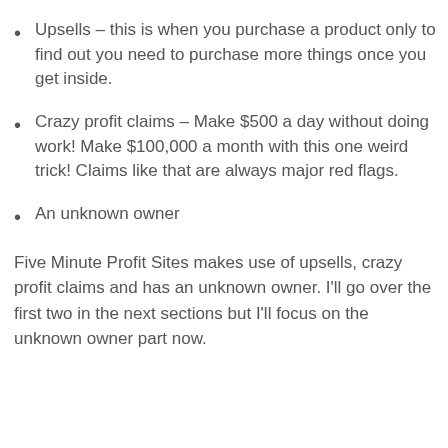Upsells – this is when you purchase a product only to find out you need to purchase more things once you get inside.
Crazy profit claims – Make $500 a day without doing work! Make $100,000 a month with this one weird trick! Claims like that are always major red flags.
An unknown owner
Five Minute Profit Sites makes use of upsells, crazy profit claims and has an unknown owner. I'll go over the first two in the next sections but I'll focus on the unknown owner part now.